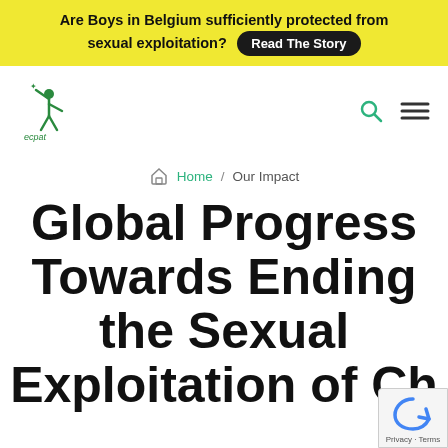Are Boys in Belgium sufficiently protected from sexual exploitation? Read The Story
[Figure (logo): ECPAT logo — green figure with raised arm and stars, text 'ecpat' below]
Home / Our Impact
Global Progress Towards Ending the Sexual Exploitation of Children